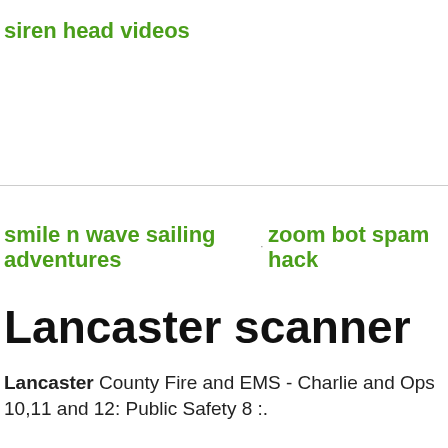siren head videos
smile n wave sailing adventures
zoom bot spam hack
Lancaster scanner
Lancaster County Fire and EMS - Charlie and Ops 10,11 and 12: Public Safety 8 :.
caravans
lake greenwood lots for sale
for sale
tall trees
DEGREES OF